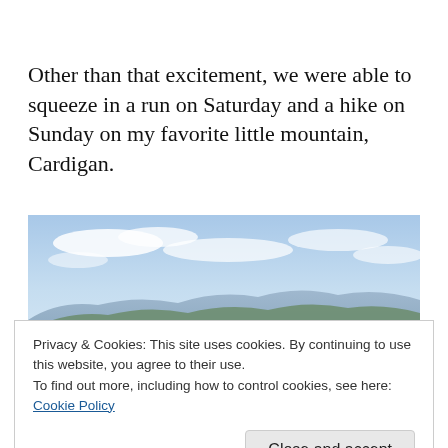Other than that excitement, we were able to squeeze in a run on Saturday and a hike on Sunday on my favorite little mountain, Cardigan.
[Figure (photo): Panoramic landscape photo from mountaintop showing rolling green hills and mountains in the distance under a partly cloudy blue sky]
Privacy & Cookies: This site uses cookies. By continuing to use this website, you agree to their use. To find out more, including how to control cookies, see here: Cookie Policy